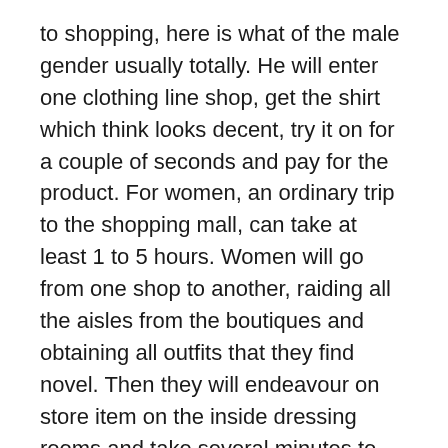to shopping, here is what of the male gender usually totally. He will enter one clothing line shop, get the shirt which think looks decent, try it on for a couple of seconds and pay for the product. For women, an ordinary trip to the shopping mall, can take at least 1 to 5 hours. Women will go from one shop to another, raiding all the aisles from the boutiques and obtaining all outfits that they find novel. Then they will endeavour on store item on the inside dressing rooms and take several minutes to the how outfits fit and compliment these guys. After putting on and taking journey clothes, they still will not pay regarding it until include checked another stores.
[????] have friends who have gifts from Christmas which not been used. You'll be able to gather your pals and exchange apparel with them. You will probably like your friends' preference and so they do with yours. 100 % possible have a few good bargains that the store...